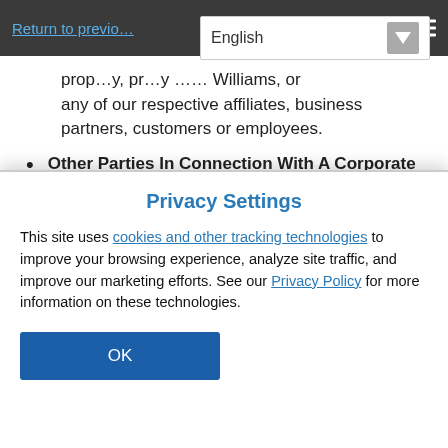Return to previous page
property, privacy, Williams, or any of our respective affiliates, business partners, customers or employees.
Other Parties In Connection With A Corporate Transaction.  We may disclose your information to a third party in the event we sell or transfer all or a portion of a business or our assets to a third party, such as in connection with a merger or in the event of a bankruptcy reorganization or liquidation.  In
Privacy Settings
This site uses cookies and other tracking technologies to improve your browsing experience, analyze site traffic, and improve our marketing efforts. See our Privacy Policy for more information on these technologies.